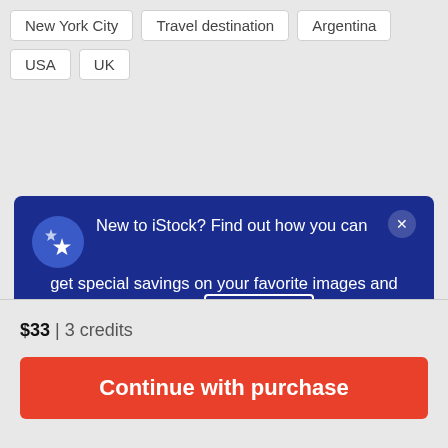New York City
Travel destination
Argentina
USA
UK
[Figure (screenshot): Promotional banner on dark blue background with star icon. Text: 'New to iStock? Find out how you can get special savings on your favorite images and videos.' with a 'See details' button and an X close button.]
$33 | 3 credits
Continue with purchase